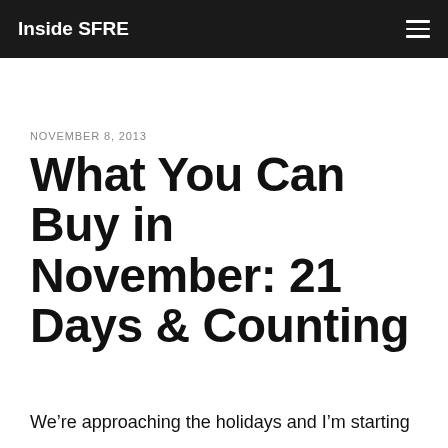Inside SFRE
NOVEMBER 8, 2013
What You Can Buy in November: 21 Days & Counting
We're approaching the holidays and I'm starting